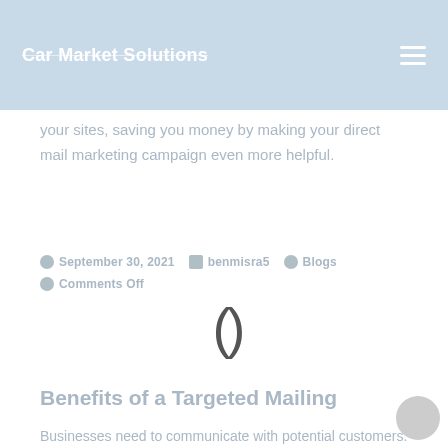Car Market Solutions
your sites, saving you money by making your direct mail marketing campaign even more helpful.
September 30, 2021   benmisra5   Blogs
Comments Off
Benefits of a Targeted Mailing
Businesses need to communicate with potential customers. Saturation and targeted mailings are both effective means of direct marketing. These advertisements save money versus the cost of traditional